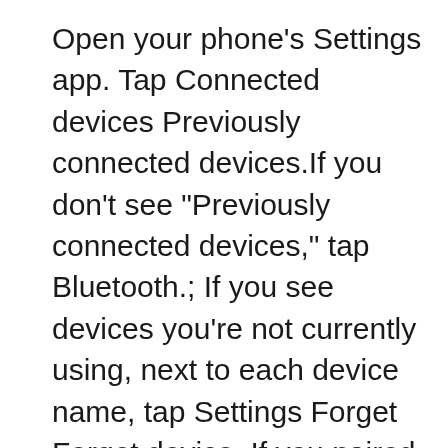Open your phone's Settings app. Tap Connected devices Previously connected devices.If you don't see "Previously connected devices," tap Bluetooth.; If you see devices you're not currently using, next to each device name, tap Settings Forget Forget device. If you paired your phone and car before, next to your car's name, tap Settings Forget Forget device. BluetoothB® Mode Press the source button to activate BluetoothB® Mode BluetoothB® Mode allows you to connect earmuffs to your BluetoothB® Device. 01 Pair Device Press and hold the function button for 2 seconds to enter BluetoothB® Pairing Mode. On